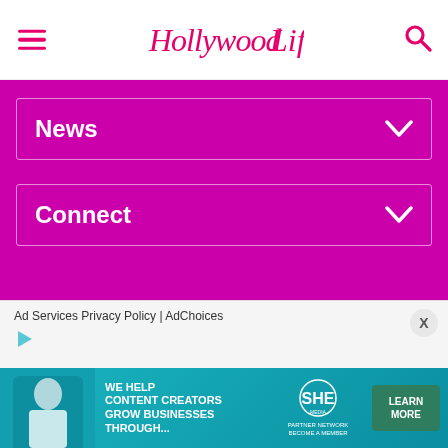HollywoodLife
News
Connect
[Figure (logo): HollywoodLife logo in white script on magenta background]
© Copyright 2022 Hollywoodlife.com, LLC.
Powered by WordPress.com VIP
Ad Services Privacy Policy | AdChoices
[Figure (infographic): SHE Media Partner Network banner ad: We help content creators grow businesses through... with Learn More button]